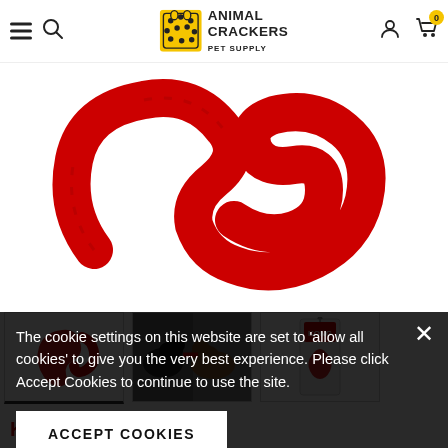Animal Crackers Pet Supply
[Figure (photo): Red KONG Tug Dog Toy ring/loop shape on white background]
[Figure (photo): Thumbnail 1: Red KONG Tug Dog Toy product view]
[Figure (photo): Thumbnail 2: Two dogs playing tug with KONG toy]
[Figure (photo): Thumbnail 3: KONG Tug Dog Toy product packaging]
KONG Tug Dog Toy
The cookie settings on this website are set to 'allow all cookies' to give you the very best experience. Please click Accept Cookies to continue to use the site.